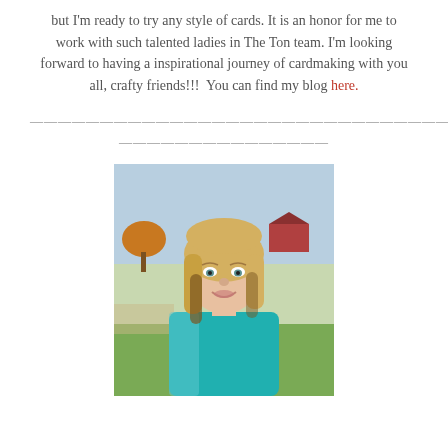but I'm ready to try any style of cards. It is an honor for me to work with such talented ladies in The Ton team. I'm looking forward to having a inspirational journey of cardmaking with you all, crafty friends!!!  You can find my blog here.
——————————————————————————————————————————————————————————
[Figure (photo): Portrait photo of a blonde woman with shoulder-length hair, wearing a teal/turquoise jacket, smiling, outdoors with a rural background including trees, grass, and a red barn.]